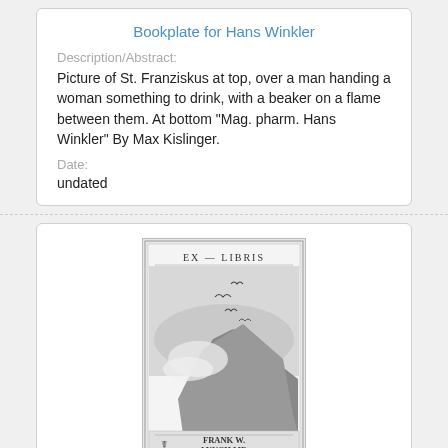Bookplate for Hans Winkler
Description/Abstract:
Picture of St. Franziskus at top, over a man handing a woman something to drink, with a beaker on a flame between them. At bottom "Mag. pharm. Hans Winkler" By Max Kislinger.
Date:
undated
[Figure (illustration): Bookplate image for Frank W. Lynch M.D. — Ex Libris bookplate showing seabirds flying over a rocky coastal scene with waves, with text 'FRANK W. LYNCH MD' at the bottom.]
Bookplate for Frank W. Lynch, M.D.